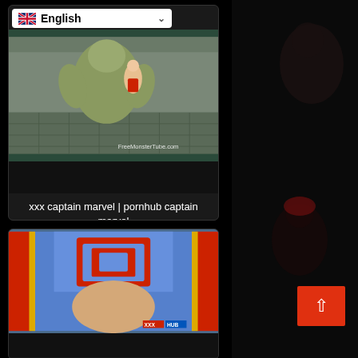[Figure (screenshot): Video thumbnail card 1: 3D animation scene with watermark FreeMonsterTube.com, with English language selector dropdown at top, and title text 'xxx captain marvel | pornhub captain marvel']
[Figure (screenshot): Video thumbnail card 2: 3D animation scene showing Captain Marvel character]
[Figure (screenshot): Right column dark background with partially visible 3D character image and orange back-to-top button with up arrow]